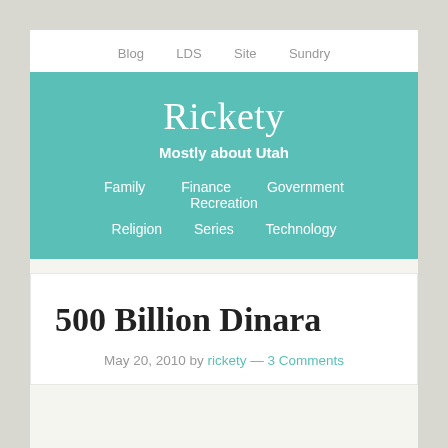Blog   LDS   Site   Sundry
Rickety
Mostly about Utah
Family   Finance   Government   Recreation   Religion   Series   Technology
500 Billion Dinara
May 20, 2010 by rickety — 3 Comments